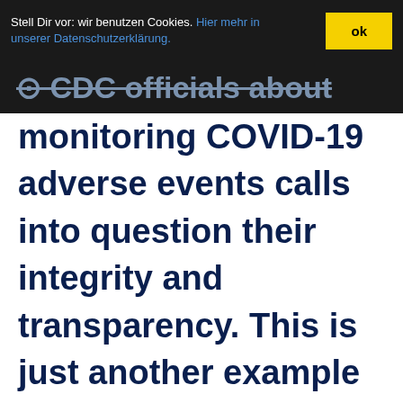Stell Dir vor: wir benutzen Cookies. Hier mehr in unserer Datenschutzerklärung. ok
CDC officials about monitoring COVID-19 adverse events calls into question their integrity and transparency. This is just another example of why Americans have completely lost faith in federal health